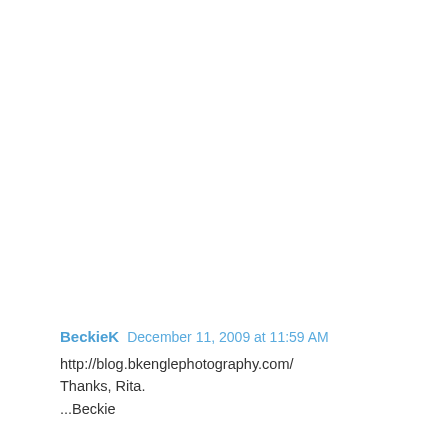BeckieK  December 11, 2009 at 11:59 AM
http://blog.bkenglephotography.com/
Thanks, Rita.
...Beckie